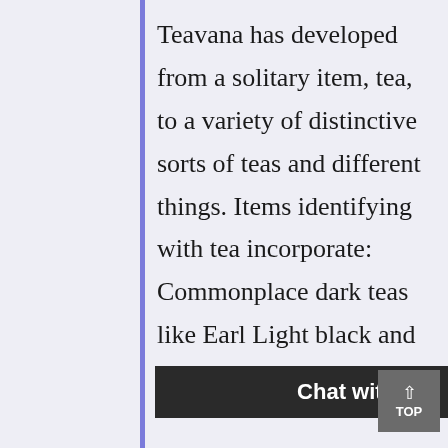Teavana has developed from a solitary item, tea, to a variety of distinctive sorts of teas and different things. Items identifying with tea incorporate: Commonplace dark teas like Earl Light black and English breakfast are accessible in detached leaf arrangement, and extraordinary starter white teas incorporate Silver Needles White Tea and Youth berry White Tea. The organization has further ventured into material items includi[ng...]ea